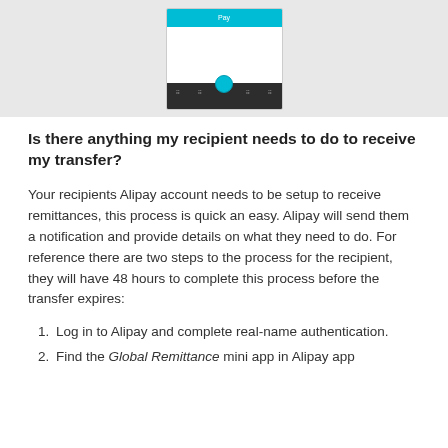[Figure (screenshot): Screenshot of a mobile app interface showing a teal/cyan top bar with nav elements and a dark bottom navigation bar with a teal circular center button]
Is there anything my recipient needs to do to receive my transfer?
Your recipients Alipay account needs to be setup to receive remittances, this process is quick an easy. Alipay will send them a notification and provide details on what they need to do. For reference there are two steps to the process for the recipient, they will have 48 hours to complete this process before the transfer expires:
Log in to Alipay and complete real-name authentication.
Find the Global Remittance mini app in Alipay app